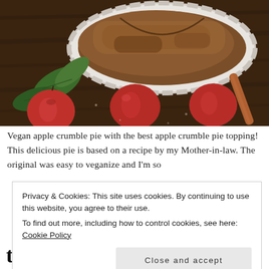[Figure (photo): Photo of a vegan apple crumble pie in a white ceramic dish on a dark wooden surface, surrounded by red apples, green leaves, and a cinnamon stick.]
Vegan apple crumble pie with the best apple crumble pie topping! This delicious pie is based on a recipe by my Mother-in-law. The original was easy to veganize and I'm so
Privacy & Cookies: This site uses cookies. By continuing to use this website, you agree to their use.
To find out more, including how to control cookies, see here: Cookie Policy
Close and accept
the best apple crumble pie